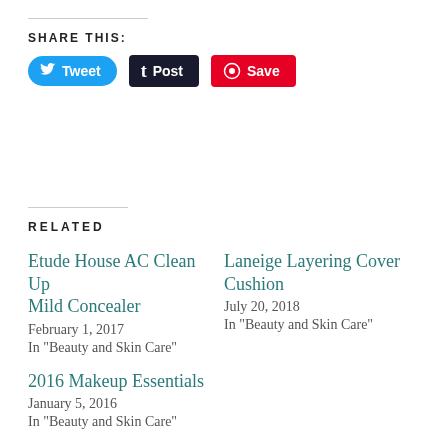SHARE THIS:
[Figure (other): Social share buttons: Tweet (Twitter/blue), Post (Tumblr/dark), Save (Pinterest/red)]
RELATED
Etude House AC Clean Up Mild Concealer
February 1, 2017
In "Beauty and Skin Care"
Laneige Layering Cover Cushion
July 20, 2018
In "Beauty and Skin Care"
2016 Makeup Essentials
January 5, 2016
In "Beauty and Skin Care"